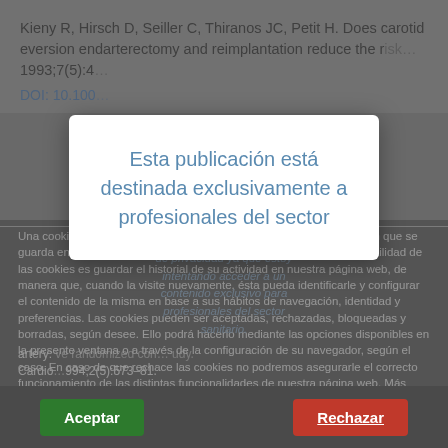Kieny R, Hirsch D, Seiller C, Thiranos JC, Petit H. Does carotid eversion endarterectomy and reimplantation reduce the r... 1993;7(5):4...
DOI: 10.100...
[Figure (screenshot): White modal dialog box with blue text reading 'Esta publicación está destinada exclusivamente a profesionales del sector']
Una cookie o galleta informática es un pequeño archivo de información que se guarda en su navegador cada vez que visita nuestra página web. La utilidad de las cookies es guardar el historial de su actividad en nuestra página web, de manera que, cuando la visite nuevamente, ésta pueda identificarle y configurar el contenido de la misma en base a sus hábitos de navegación, identidad y preferencias. Las cookies pueden ser aceptadas, rechazadas, bloqueadas y borradas, según desee. Ello podrá hacerlo mediante las opciones disponibles en la presente ventana o a través de la configuración de su navegador, según el caso. En caso de que rechace las cookies no podremos asegurarle el correcto funcionamiento de las distintas funcionalidades de nuestra página web. Más información en el apartado "POLÍTICA DE COOKIES" de nuestra página web.
Aceptar
Rechazar